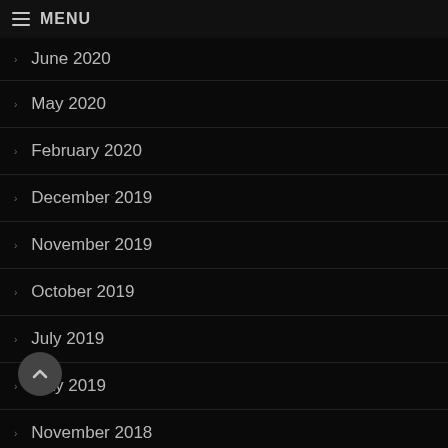MENU
June 2020
May 2020
February 2020
December 2019
November 2019
October 2019
July 2019
May 2019
November 2018
October 2018